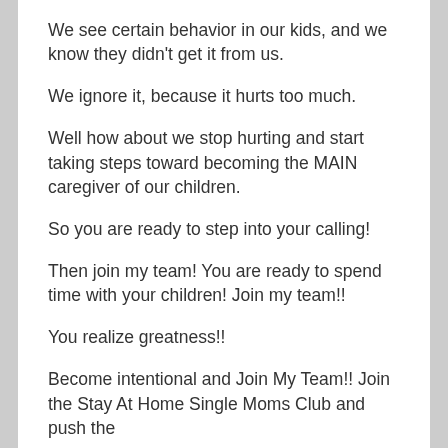We see certain behavior in our kids, and we know they didn't get it from us.
We ignore it, because it hurts too much.
Well how about we stop hurting and start taking steps toward becoming the MAIN caregiver of our children.
So you are ready to step into your calling!
Then join my team! You are ready to spend time with your children! Join my team!!
You realize greatness!!
Become intentional and Join My Team!! Join the Stay At Home Single Moms Club and push the